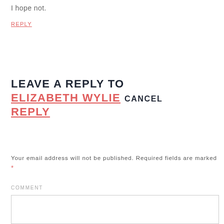I hope not.
REPLY
LEAVE A REPLY TO ELIZABETH WYLIE CANCEL REPLY
Your email address will not be published. Required fields are marked *
COMMENT